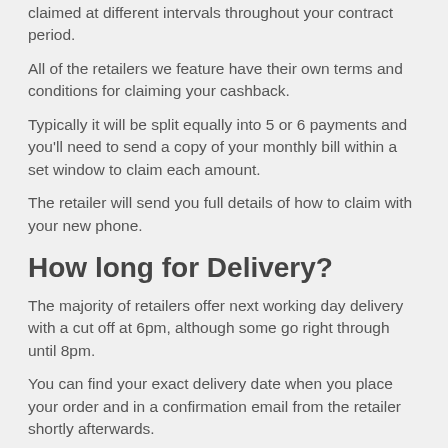claimed at different intervals throughout your contract period.
All of the retailers we feature have their own terms and conditions for claiming your cashback.
Typically it will be split equally into 5 or 6 payments and you'll need to send a copy of your monthly bill within a set window to claim each amount.
The retailer will send you full details of how to claim with your new phone.
How long for Delivery?
The majority of retailers offer next working day delivery with a cut off at 6pm, although some go right through until 8pm.
You can find your exact delivery date when you place your order and in a confirmation email from the retailer shortly afterwards.
If you change your mind and wish to return your phone, you can inform the retailer within 14 calendar days.
Are there any Credit Checks?
Regardless of where you order a contract phone deal, after the